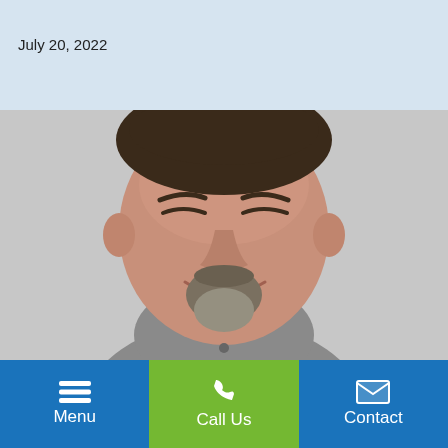July 20, 2022
[Figure (photo): Headshot of a middle-aged man with a goatee, smiling, wearing a grey zip-up fleece jacket against a light grey background.]
Perma-Seal Announces New
Menu | Call Us | Contact